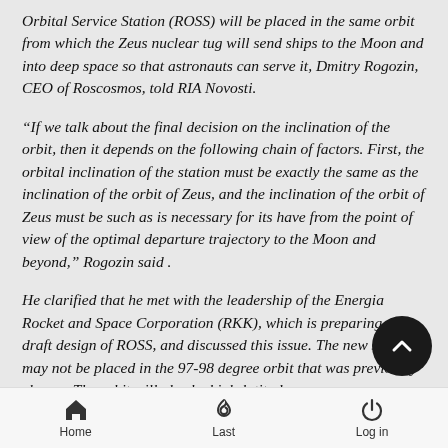Orbital Service Station (ROSS) will be placed in the same orbit from which the Zeus nuclear tug will send ships to the Moon and into deep space so that astronauts can serve it, Dmitry Rogozin, CEO of Roscosmos, told RIA Novosti.
“If we talk about the final decision on the inclination of the orbit, then it depends on the following chain of factors. First, the orbital inclination of the station must be exactly the same as the inclination of the orbit of Zeus, and the inclination of the orbit of Zeus must be such as is necessary for its have from the point of view of the optimal departure trajectory to the Moon and beyond,” Rogozin said .
He clarified that he met with the leadership of the Energia Rocket and Space Corporation (RKK), which is preparing a draft design of ROSS, and discussed this issue. The new station may not be placed in the 97-98 degree orbit that was previously chosen. The orbit will also be high-latitude,
Home   Last   Log in